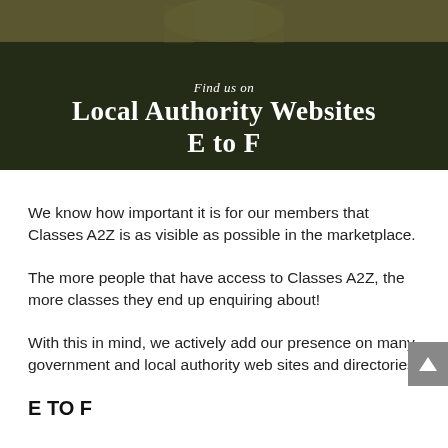[Figure (photo): Banner image with a person with hands raised to their head, overlaid with dark semi-transparent background and white text reading 'Find us on Local Authority Websites E to F']
Find us on Local Authority Websites E to F
We know how important it is for our members that Classes A2Z is as visible as possible in the marketplace.
The more people that have access to Classes A2Z, the more classes they end up enquiring about!
With this in mind, we actively add our presence on many government and local authority web sites and directories.
E TO F